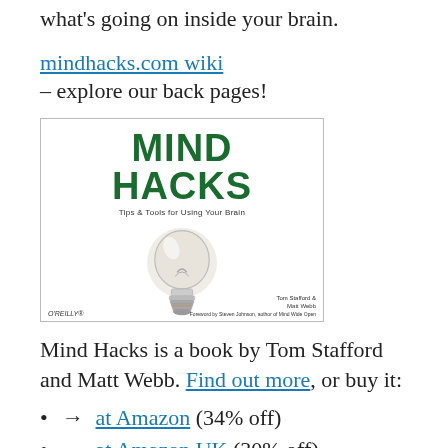what's going on inside your brain.
mindhacks.com wiki
- explore our back pages!
[Figure (photo): Book cover of 'Mind Hacks: Tips & Tools for Using Your Brain' published by O'Reilly, by Tom Stafford and Matt Webb, featuring a lightbulb on a white background, with green bold title text.]
Mind Hacks is a book by Tom Stafford and Matt Webb. Find out more, or buy it:
→ at Amazon (34% off)
→ at Amazon UK (30% off)